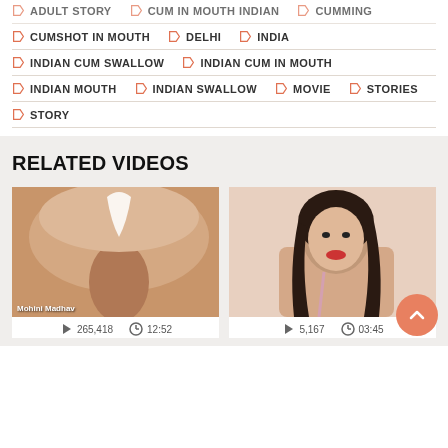ADULT STORY, CUM IN MOUTH INDIAN, CUMMING
CUMSHOT IN MOUTH, DELHI, INDIA
INDIAN CUM SWALLOW, INDIAN CUM IN MOUTH
INDIAN MOUTH, INDIAN SWALLOW, MOVIE, STORIES
STORY
RELATED VIDEOS
[Figure (photo): Video thumbnail showing adult content, labeled Mohini Madhav]
[Figure (photo): Video thumbnail showing adult content, woman with dark hair]
265,418   12:52
5,167   03:45